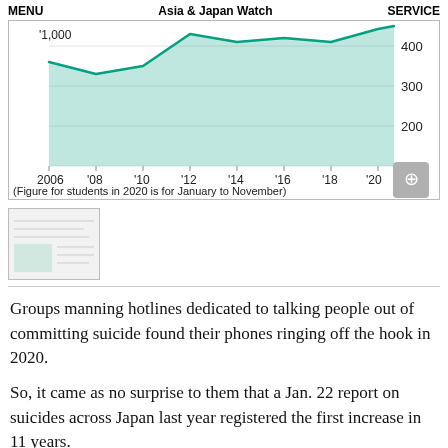MENU   Asia & Japan Watch   SERVICE
[Figure (area-chart): Student suicides in Japan]
(Figure for students in 2020 is for January to November)
[Figure (other): Thumbnail image of a related article or infographic]
Groups manning hotlines dedicated to talking people out of committing suicide found their phones ringing off the hook in 2020.
So, it came as no surprise to them that a Jan. 22 report on suicides across Japan last year registered the first increase in 11 years.
The primary culprit for the surge, particularly noticeable among women, was emotional and financial stress caused